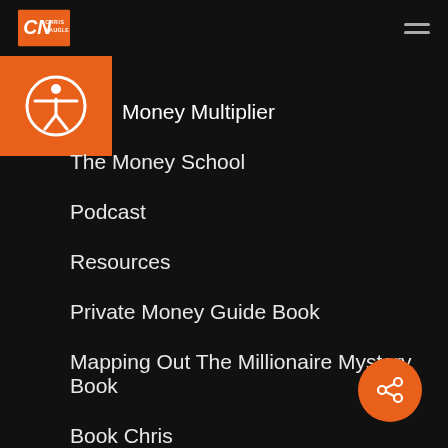[Figure (logo): Chris Naugle logo with orange CN monogram and text CHRIS NAUGLE]
[Figure (logo): Accessibility icon - person in circle on orange background]
Money Multiplier
The Money School
Podcast
Resources
Private Money Guide Book
Mapping Out The Millionaire Mystery Book
Book Chris
[Figure (other): Orange circular share button with share/network icon in bottom right corner]